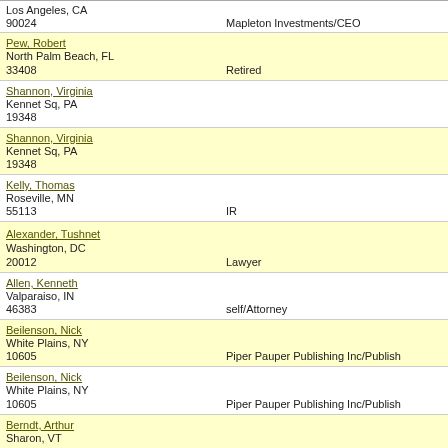Los Angeles, CA
90024
Mapleton Investments/CEO
Pew, Robert
North Palm Beach, FL
33408
Retired
Shannon, Virginia
Kennet Sq, PA
19348
Shannon, Virginia
Kennet Sq, PA
19348
Kelly, Thomas
Roseville, MN
55113
IR
Alexander, Tushnet
Washington, DC
20012
Lawyer
Allen, Kenneth
Valparaiso, IN
46383
self/Attorney
Beilenson, Nick
White Plains, NY
10605
Piper Pauper Publishing Inc/Publish
Beilenson, Nick
White Plains, NY
10605
Piper Pauper Publishing Inc/Publish
Berndt, Arthur
Sharon, VT